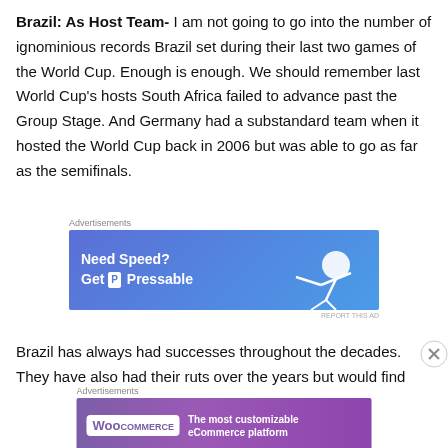Brazil: As Host Team- I am not going to go into the number of ignominious records Brazil set during their last two games of the World Cup. Enough is enough. We should remember last World Cup's hosts South Africa failed to advance past the Group Stage. And Germany had a substandard team when it hosted the World Cup back in 2006 but was able to go as far as the semifinals.
[Figure (other): Advertisement banner for Pressable hosting service with blue gradient background and figure of a person flying. Text: Need Speed? Get P Pressable]
Brazil has always had successes throughout the decades. They have also had their ruts over the years but would find
[Figure (other): Advertisement banner for WooCommerce. Text: The most customizable eCommerce platform]